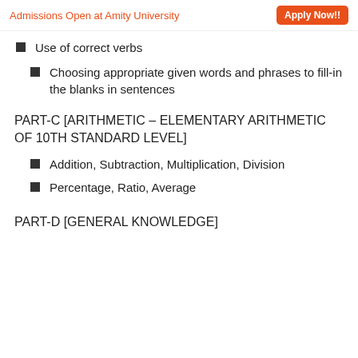Admissions Open at Amity University  Apply Now!!
Use of correct verbs
Choosing appropriate given words and phrases to fill-in the blanks in sentences
PART-C [ARITHMETIC – ELEMENTARY ARITHMETIC OF 10TH STANDARD LEVEL]
Addition, Subtraction, Multiplication, Division
Percentage, Ratio, Average
PART-D [GENERAL KNOWLEDGE]